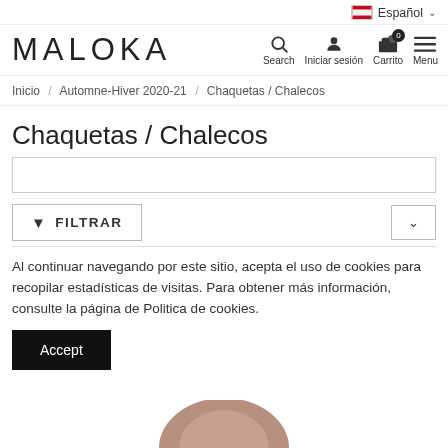Español
MALOKA
Search  Iniciar sesión  Carrito  Menu
Inicio / Automne-Hiver 2020-21 / Chaquetas / Chalecos
Chaquetas / Chalecos
FILTRAR
Al continuar navegando por este sitio, acepta el uso de cookies para recopilar estadísticas de visitas. Para obtener más información, consulte la página de Politica de cookies.
Accept